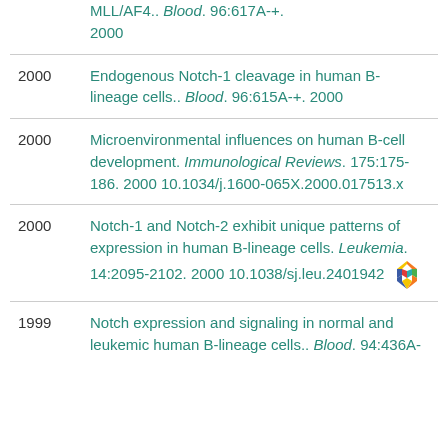2000 MLL/AF4.. Blood. 96:617A-+. 2000
2000 Endogenous Notch-1 cleavage in human B-lineage cells.. Blood. 96:615A-+. 2000
2000 Microenvironmental influences on human B-cell development. Immunological Reviews. 175:175-186. 2000 10.1034/j.1600-065X.2000.017513.x
2000 Notch-1 and Notch-2 exhibit unique patterns of expression in human B-lineage cells. Leukemia. 14:2095-2102. 2000 10.1038/sj.leu.2401942
1999 Notch expression and signaling in normal and leukemic human B-lineage cells.. Blood. 94:436A-